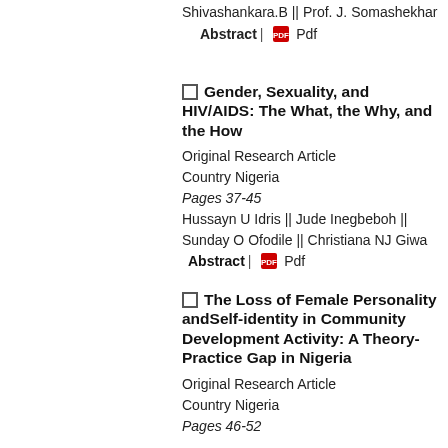Shivashankara.B || Prof. J. Somashekhar
Abstract | Pdf
Gender, Sexuality, and HIV/AIDS: The What, the Why, and the How
Original Research Article
Country Nigeria
Pages 37-45
Hussayn U Idris || Jude Inegbeboh || Sunday O Ofodile || Christiana NJ Giwa
Abstract | Pdf
The Loss of Female Personality andSelf-identity in Community Development Activity: A Theory-Practice Gap in Nigeria
Original Research Article
Country Nigeria
Pages 46-52